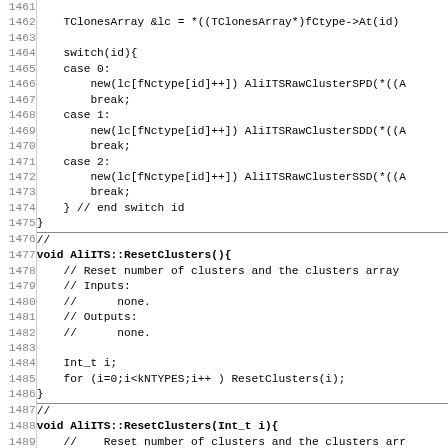Source code listing: AliITS class, lines 1461-1492, showing TClonesArray, switch statement for cluster types, ResetClusters functions